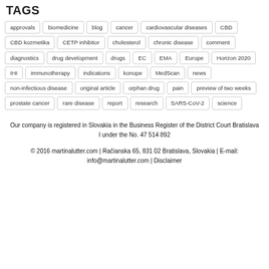TAGS
approvals
biomedicine
blog
cancer
cardiovascular diseases
CBD
CBD kozmetika
CETP inhibitor
cholesterol
chronic disease
comment
diagnostics
drug development
drugs
EC
EMA
Europe
Horizon 2020
IHI
immunotherapy
indications
konope
MedScan
news
non-infectious disease
original article
orphan drug
pain
preview of two weeks
prostate cancer
rare disease
report
research
SARS-CoV-2
science
Our company is registered in Slovakia in the Business Register of the District Court Bratislava I under the No. 47 514 892
© 2016 martinalutter.com | Račianska 65, 831 02 Bratislava, Slovakia | E-mail: info@martinalutter.com | Disclaimer